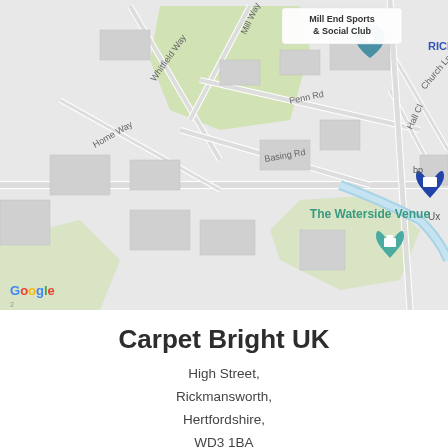[Figure (map): Google Maps screenshot showing Mill End Sports & Social Club, The Waterside Venue, Penn Rd, Basing Rd, Hall Cl, Church Ln, Home Way, Whitfield Way, Mill Way, bp petrol station with pin marker. Google logo visible bottom left.]
Carpet Bright UK
High Street, Rickmansworth, Hertfordshire, WD3 1BA
01923 553024
info@carpetbright.uk.com